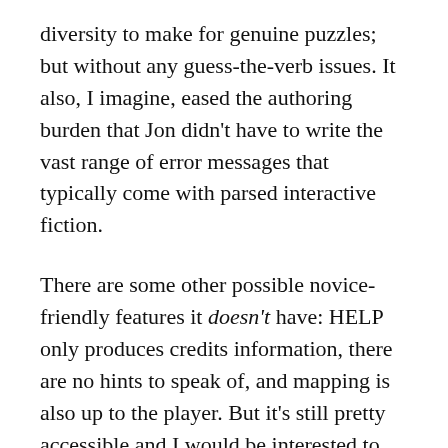diversity to make for genuine puzzles; but without any guess-the-verb issues. It also, I imagine, eased the authoring burden that Jon didn't have to write the vast range of error messages that typically come with parsed interactive fiction.
There are some other possible novice-friendly features it doesn't have: HELP only produces credits information, there are no hints to speak of, and mapping is also up to the player. But it's still pretty accessible and I would be interested to see what new-to-IF players might make of it.
So that's worth noting, and has already